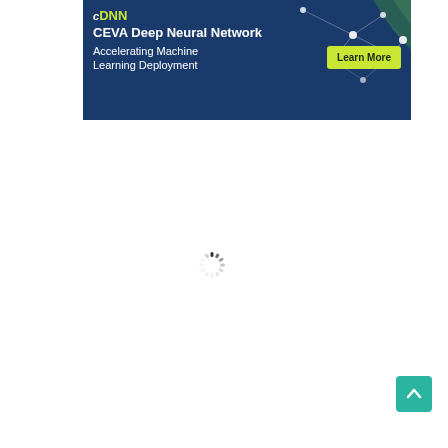[Figure (illustration): CEVA Deep Neural Network (CDNN) advertisement banner with dark blue background, network graph graphic on the right side, CDNN logo text, title 'CEVA Deep Neural Network', subtitle 'Accelerating Machine Learning Deployment', and a yellow-green 'Learn More' button.]
[Figure (other): Loading spinner icon (circular dashed spinner) centered on white background, indicating page content is loading.]
[Figure (other): Teal/green scroll-to-top button with upward chevron arrow, positioned in the bottom-right corner of the page.]